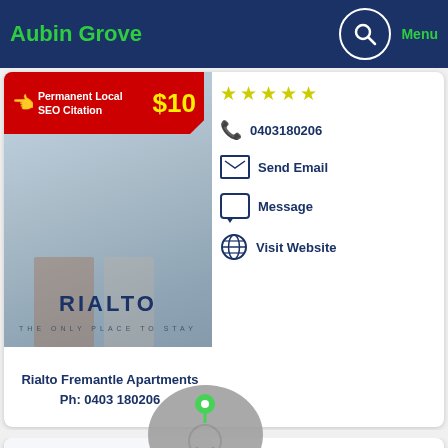Aubin Grove | Menu
[Figure (screenshot): Listing card for Rialto Fremantle Apartments with ad banner 'Permanent Local SEO Citation $10', hotel photo, 5-star rating, phone 0403180206, Send Email, Message, Visit Website]
Rialto Fremantle Apartments Ph: 0403 180206
[Figure (screenshot): Listing card for Mr Rental Rockingham showing 18.4kms distance, 5-star rating, phone 0427922269, Send Email, Message, Visit Website]
Mr Rental Rockingham
19.8kms